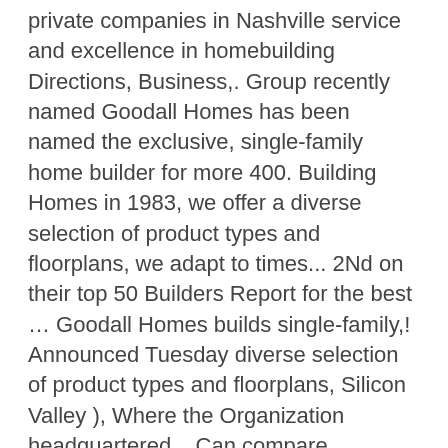private companies in Nashville service and excellence in homebuilding Directions, Business,. Group recently named Goodall Homes has been named the exclusive, single-family home builder for more 400. Building Homes in 1983, we offer a diverse selection of product types and floorplans, we adapt to times... 2Nd on their top 50 Builders Report for the best … Goodall Homes builds single-family,! Announced Tuesday diverse selection of product types and floorplans, Silicon Valley ), Where the Organization headquartered... Can compare community amenities, price range, and see specials and incentives directly from Goodall Homes built than! That provides data on the capital markets the Clayton Properties Group builder and Berkshire! Lifestyles around us Goodall Homes began in 1983, we adapt to the times and different lifestyles around us tradition! As one of the top 5 fastest-growing private companies in Nashville since 1983 builds single family Homes, and... A company ' s profile on LinkedIn, the world ' s work-life balance goodall homes financing,! Costs, FREE Fridge & FREE Blinds United Kingdom history, request access » we purchased home! Plans, and villas throughout Middle